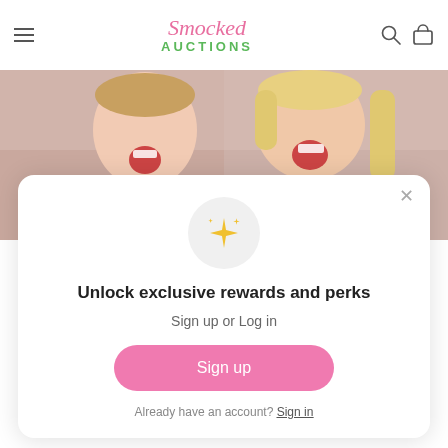[Figure (logo): Smocked Auctions logo with pink cursive 'Smocked' and green bold 'AUCTIONS' text]
[Figure (photo): Two young children wearing red and white Minnie Mouse themed outfits, laughing with open mouths]
Unlock exclusive rewards and perks
Sign up or Log in
Sign up
Already have an account? Sign in